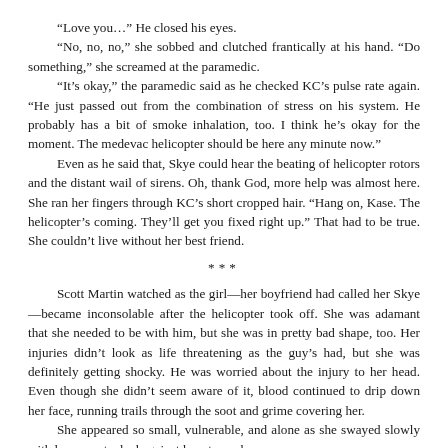“Love you…” He closed his eyes.
“No, no, no,” she sobbed and clutched frantically at his hand. “Do something,” she screamed at the paramedic.
“It’s okay,” the paramedic said as he checked KC’s pulse rate again. “He just passed out from the combination of stress on his system. He probably has a bit of smoke inhalation, too. I think he’s okay for the moment. The medevac helicopter should be here any minute now.”
Even as he said that, Skye could hear the beating of helicopter rotors and the distant wail of sirens. Oh, thank God, more help was almost here. She ran her fingers through KC’s short cropped hair. “Hang on, Kase. The helicopter’s coming. They’ll get you fixed right up.” That had to be true. She couldn’t live without her best friend.
***
Scott Martin watched as the girl—her boyfriend had called her Skye—became inconsolable after the helicopter took off. She was adamant that she needed to be with him, but she was in pretty bad shape, too. Her injuries didn’t look as life threatening as the guy’s had, but she was definitely getting shocky. He was worried about the injury to her head. Even though she didn’t seem aware of it, blood continued to drip down her face, running trails through the soot and grime covering her.
She appeared so small, vulnerable, and alone as she swayed slowly with her arms tucked against her stomach.